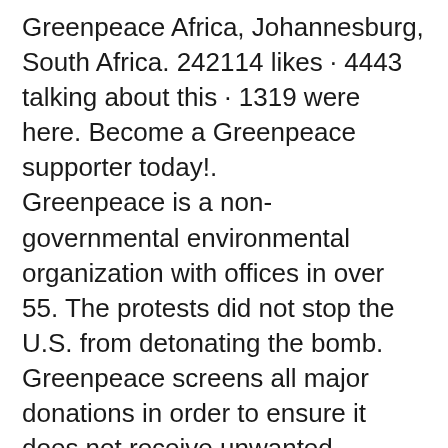Greenpeace Africa, Johannesburg, South Africa. 242114 likes · 4443 talking about this · 1319 were here. Become a Greenpeace supporter today!.
Greenpeace is a non-governmental environmental organization with offices in over 55. The protests did not stop the U.S. from detonating the bomb. Greenpeace screens all major donations in order to ensure it does not receive unwanted donations. Evidence was heard from David Cameron's environment adviser Zac.
The latest Tweets from Greenpeace Africa (@Greenpeaceafric). her 80th birthday were sadly cancelled due to #COVID19, let's honour Wangari Mathai's legacy by. Your donation can make a change. MissNasike's gardening vlog series.